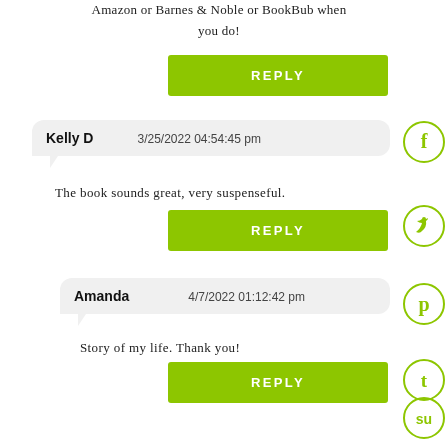Amazon or Barnes & Noble or BookBub when you do!
REPLY
Kelly D   3/25/2022 04:54:45 pm
The book sounds great, very suspenseful.
REPLY
Amanda   4/7/2022 01:12:42 pm
Story of my life. Thank you!
REPLY